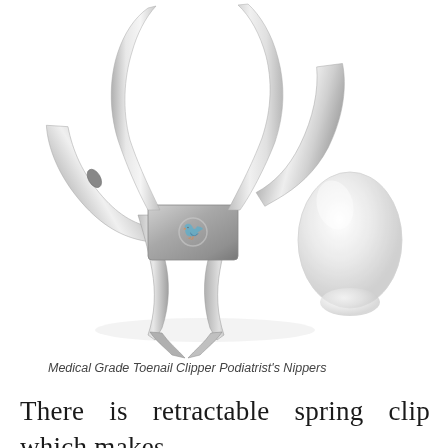[Figure (photo): A stainless steel medical grade toenail clipper / podiatrist's nippers with long curved handles shown open, and a separate clear protective cap beside it, both on a white background.]
Medical Grade Toenail Clipper Podiatrist's Nippers
There is retractable spring clip which makes